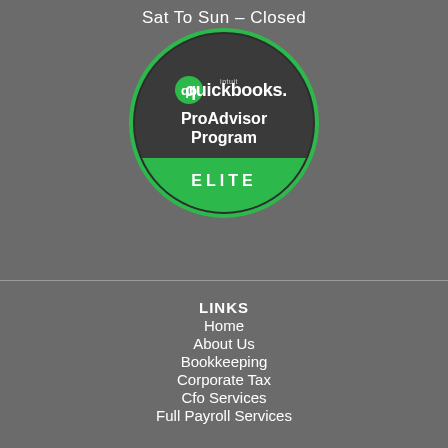Sat To Sun – Closed
[Figure (logo): Intuit QuickBooks ProAdvisor Program Elite badge — dark circular badge with green border, QuickBooks logo at top, 'ProAdvisor Program' text in white, and a green 'ELITE' banner at the bottom]
LINKS
Home
About Us
Bookkeeping
Corporate Tax
Cfo Services
Full Payroll Services